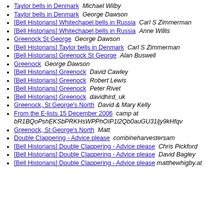Taylor bells in Denmark  Michael Wilby
Taylor bells in Denmark  George Dawson
[Bell Historians] Whitechapel bells in Russia  Carl S Zimmerman
[Bell Historians] Whitechapel bells in Russia  Anne Willis
Greenock St George  George Dawson
[Bell Historians] Taylor bells in Denmark  Carl S Zimmerman
[Bell Historians] Greenock St George  Alan Buswell
Greenock  George Dawson
[Bell Historians] Greenock  David Cawley
[Bell Historians] Greenock  Robert Lewis
[Bell Historians] Greenock  Peter Rivet
[Bell Historians] Greenock  davidhird_uk
Greenock, St George's North  David & Mary Kelly
From the E-lists 15 December 2006  camp at bR1BQoPshEKSbPRKHsWPPhOIP1l2Qb0auGU31ljy9kHfqv...
Greenock, St George's North  Matt
Double Clappering - Advice please  combineharvestersam
[Bell Historians] Double Clappering - Advice please  Chris Pickford
[Bell Historians] Double Clappering - Advice please  David Bagley
[Bell Historians] Double Clappering - Advice please  matthewhigby.at